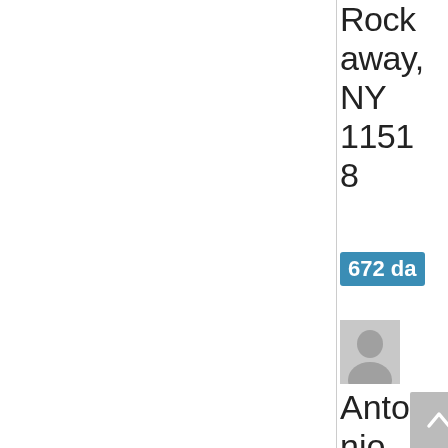Rock away, NY 11518
672 days a
[Figure (illustration): Generic user avatar placeholder icon (grey silhouette on grey background)]
Antonio M.